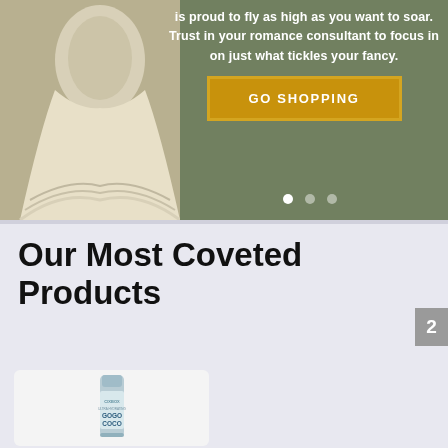[Figure (photo): Hero banner with a woman in a white ruffled wedding dress on an olive-green background, with promotional text and a gold 'GO SHOPPING' button and carousel dots]
is proud to fly as high as you want to soar. Trust in your romance consultant to focus in on just what tickles your fancy.
GO SHOPPING
Our Most Coveted Products
[Figure (photo): GoGo Coco Ultra Hydrating tube product photo on white background]
[Figure (photo): Everything Is Coming Up Roses makeup palette by Buxom surrounded by red roses]